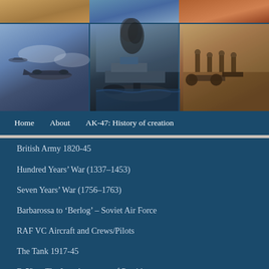[Figure (photo): Three-panel photo strip showing military history images: left - WWII bombers in flight over snowy/cloudy landscape, center - naval vessel with submarine and smoke, right - historical soldiers/artillery scene]
Home    About    AK-47: History of creation
British Army 1820-45
Hundred Years' War (1337–1453)
Seven Years' War (1756–1763)
Barbarossa to 'Berlog' – Soviet Air Force
RAF VC Aircraft and Crews/Pilots
The Tank 1917-45
B-52s – The Last Argument of Presidents
The U-Boats of World War Two